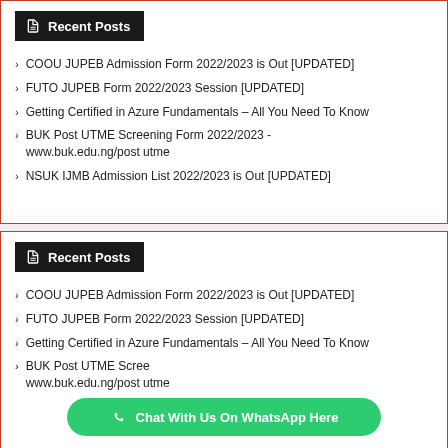Recent Posts
COOU JUPEB Admission Form 2022/2023 is Out [UPDATED]
FUTO JUPEB Form 2022/2023 Session [UPDATED]
Getting Certified in Azure Fundamentals – All You Need To Know
BUK Post UTME Screening Form 2022/2023 - www.buk.edu.ng/post utme
NSUK IJMB Admission List 2022/2023 is Out [UPDATED]
Recent Posts
COOU JUPEB Admission Form 2022/2023 is Out [UPDATED]
FUTO JUPEB Form 2022/2023 Session [UPDATED]
Getting Certified in Azure Fundamentals – All You Need To Know
BUK Post UTME Screening Form 2022/2023 - www.buk.edu.ng/post utme
Chat With Us On WhatsApp Here